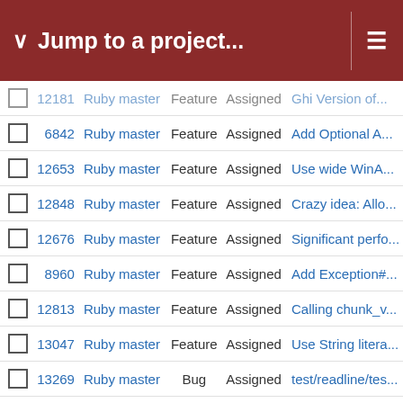Jump to a project...
|  | # | Project | Type | Status | Title |
| --- | --- | --- | --- | --- | --- |
|  | 12181 | Ruby master | Feature | Assigned | Ghi Version of... |
|  | 6842 | Ruby master | Feature | Assigned | Add Optional A... |
|  | 12653 | Ruby master | Feature | Assigned | Use wide WinA... |
|  | 12848 | Ruby master | Feature | Assigned | Crazy idea: Allo... |
|  | 12676 | Ruby master | Feature | Assigned | Significant perfo... |
|  | 8960 | Ruby master | Feature | Assigned | Add Exception#... |
|  | 12813 | Ruby master | Feature | Assigned | Calling chunk_v... |
|  | 13047 | Ruby master | Feature | Assigned | Use String litera... |
|  | 13269 | Ruby master | Bug | Assigned | test/readline/tes... |
|  | 13388 | Ruby master | Feature | Assigned | gc.c: Add GC.g... |
|  | 13252 | Ruby master | Feature | Assigned | C API for creati... |